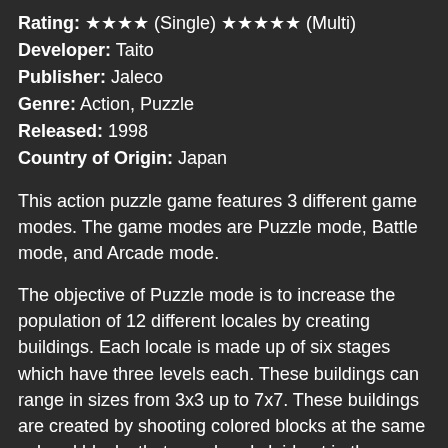Rating: ★★★★ (Single) ★★★★★ (Multi)
Developer: Taito
Publisher: Jaleco
Genre: Action, Puzzle
Released: 1998
Country of Origin: Japan
This action puzzle game features 3 different game modes. The game modes are Puzzle mode, Battle mode, and Arcade mode.
The objective of Puzzle mode is to increase the population of 12 different locales by creating buildings. Each locale is made up of six stages which have three levels each. These buildings can range in sizes from 3x3 up to 7x7. These buildings are created by shooting colored blocks at the same colored blocks that are already laid out in the playfield. The player only has a limited number of shots before the blocks on the playfield gets pushed down off the playfield. If the structure gets fully pushed off the playfield, the game ends.
Battle mode has 2 players competing against each other to see who can build and destroy the most buildings and earn the most points for doing so. To